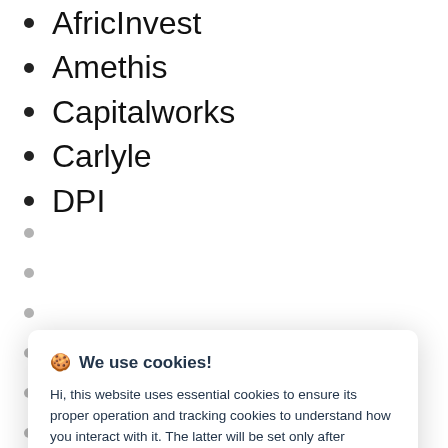AfricInvest
Amethis
Capitalworks
Carlyle
DPI
🍪 We use cookies!

Hi, this website uses essential cookies to ensure its proper operation and tracking cookies to understand how you interact with it. The latter will be set only after consent. Let me choose

[Accept all] [Reject all]